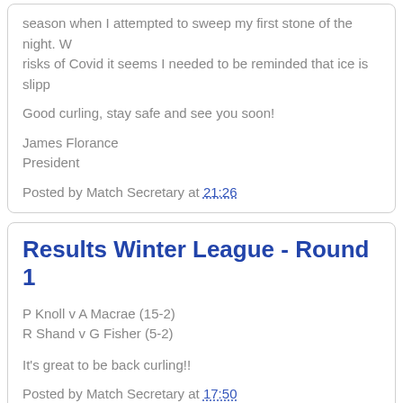season when I attempted to sweep my first stone of the night. With all the risks of Covid it seems I needed to be reminded that ice is slipp...
Good curling, stay safe and see you soon!
James Florance
President
Posted by Match Secretary at 21:26
Results Winter League - Round 1
P Knoll v A Macrae (15-2)
R Shand v G Fisher (5-2)
It's great to be back curling!!
Posted by Match Secretary at 17:50
SUNDAY, 18 OCTOBER 2020